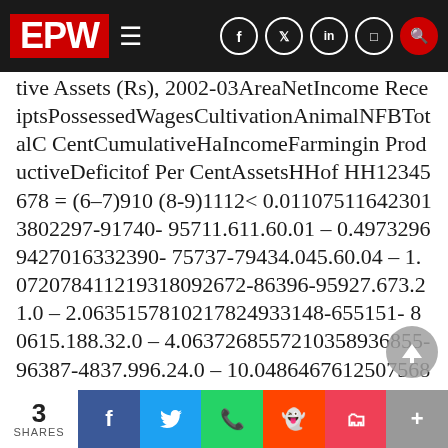EPW
| tive Assets (Rs), 2002-03 | Area | Net Income Receipts | Possessed | Wages | Cultivation | Animal | NFB | Total | Cumulative | Ha | Income | Farming in Productive | Deficit | of Per Cent | Assets | H | H of HH |
| 1 | 2 | 3 | 4 | 5 | 6 | 7 | 8 | = (6-7) | 9 | 10 (8-9) | 11 | 12 | < |
| 0.01 | 107511642 | 3013802297 | -91740-95711.61 | 1.60.01 | – | 0.4973296942701633239 | 0-75737-79434.04 | 5.60.04 | – | 1.07207841121931809267 | 2-86396-95927.67 | 3.21.0 |
| – | 2.06351578102178249331 | 48-655151-80615.18 | 8.32.0 | – | 4.06372685572103589368 | 5-96387-4837.99 | 6.24.0 | – | 10.0486467612507568146261055685370 | 3.399 |
3 SHARES